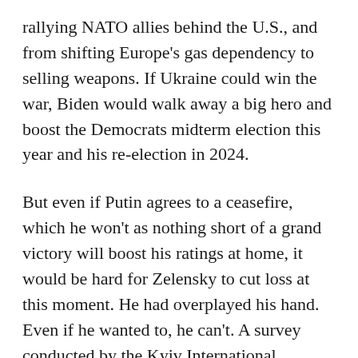rallying NATO allies behind the U.S., and from shifting Europe's gas dependency to selling weapons. If Ukraine could win the war, Biden would walk away a big hero and boost the Democrats midterm election this year and his re-election in 2024.
But even if Putin agrees to a ceasefire, which he won't as nothing short of a grand victory will boost his ratings at home, it would be hard for Zelensky to cut loss at this moment. He had overplayed his hand. Even if he wanted to, he can't. A survey conducted by the Kyiv International Institute of Sociology in May found that 82% of all respondents said they did not want to cede land to Russia.